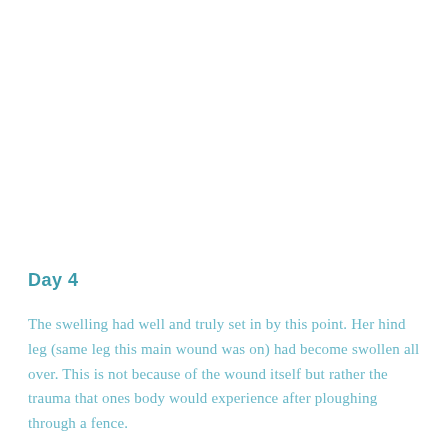Day 4
The swelling had well and truly set in by this point. Her hind leg (same leg this main wound was on) had become swollen all over. This is not because of the wound itself but rather the trauma that ones body would experience after ploughing through a fence.